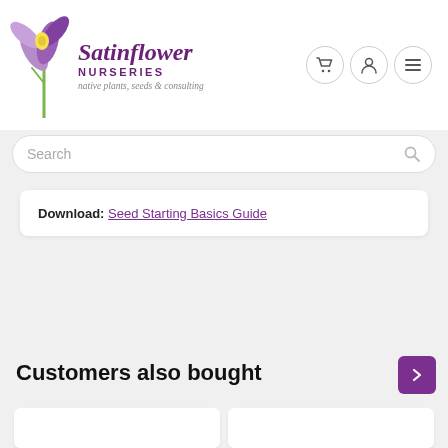[Figure (logo): Satinflower Nurseries logo with purple flower illustration, brand name in purple italic serif font, NURSERIES in small caps, tagline 'native plants, seeds & consulting']
Search
Download: Seed Starting Basics Guide
Customers also bought